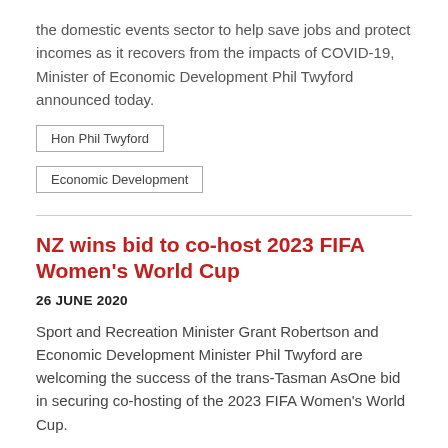the domestic events sector to help save jobs and protect incomes as it recovers from the impacts of COVID-19, Minister of Economic Development Phil Twyford announced today.
Hon Phil Twyford
Economic Development
NZ wins bid to co-host 2023 FIFA Women's World Cup
26 JUNE 2020
Sport and Recreation Minister Grant Robertson and Economic Development Minister Phil Twyford are welcoming the success of the trans-Tasman AsOne bid in securing co-hosting of the 2023 FIFA Women's World Cup.
Hon Grant Robertson
Hon Phil Twyford